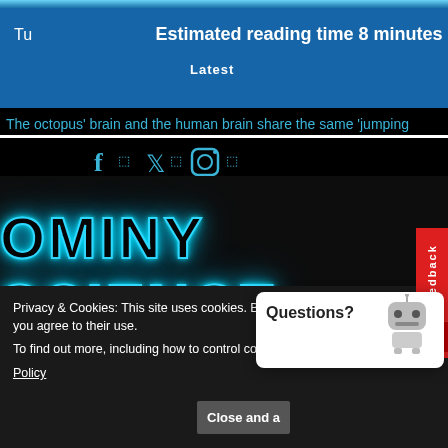Estimated reading time 8 minutes
The octopus' brain and the human brain share the same 'jumping
[Figure (screenshot): Ominy Science website header with neon logo, social media icons, navigation bar, and overlaid cookie consent banner and chatbot popup]
Privacy & Cookies: This site uses cookies. By continuing to use this website, you agree to their use.
To find out more, including how to control cookies, see here: Cookie Policy
Close and a
Questions?